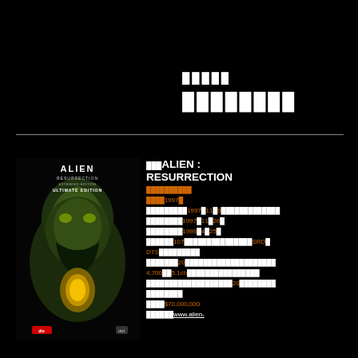█████
████████
[Figure (photo): DVD cover of Alien Resurrection Ultimate Edition showing alien creature with glowing yellow eyes on dark background]
███ALIEN : RESURRECTION
███████████
████1997█
█████████1997█11█6██████████
███████1997█11█26█
████████1998█4█25█
██████107███████████████SRD█DTS█████████
███████20████████████████4,700██5.1ch████████████
███████████████████20████████
████$70,000,000
███████www.alien-